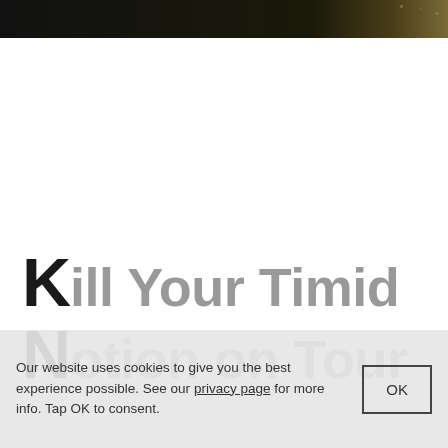[Figure (photo): Dark horizontal banner image at top of page, mostly black with slight brown/gold gradient on the right side]
Kill Your Timid
Notion on Tour
Our website uses cookies to give you the best experience possible. See our privacy page for more info. Tap OK to consent.